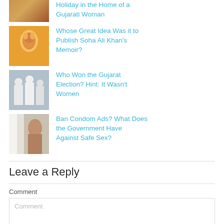Holiday in the Home of a Gujarati Woman
[Figure (photo): Decorative woman in traditional Indian attire]
Whose Great Idea Was it to Publish Soha Ali Khan's Memoir?
[Figure (photo): Woman in traditional Indian jewelry and makeup]
Who Won the Gujarat Election? Hint: It Wasn't Women
[Figure (photo): People in white traditional Indian clothes]
Ban Condom Ads? What Does the Government Have Against Safe Sex?
[Figure (photo): Woman by curtains]
Leave a Reply
Comment
Comment